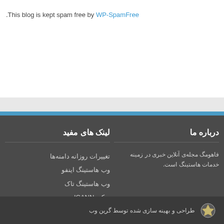.This blog is kept spam free by WP-SpamFree
درباره ما
فاهومگ مجله‌ی آنلاین خبری در زمینه خدمات هاستینگ است.
لینک های مفید
تغییرات روزانه دامنه‌ها
وب هاستینگ اینفو
وب هاستینگ تاک
ویکی ICANN
طراحی و بهینه سازی شده توسط گرین وب